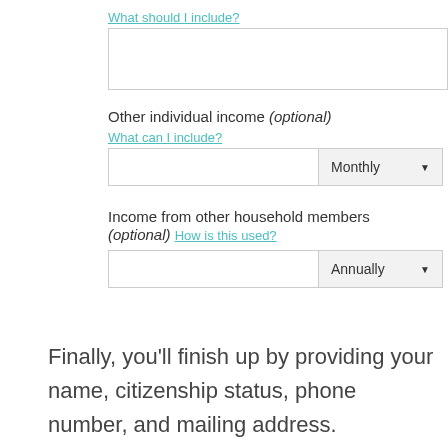What should I include?
Other individual income (optional)
What can I include?
Income from other household members (optional) How is this used?
Finally, you'll finish up by providing your name, citizenship status, phone number, and mailing address.